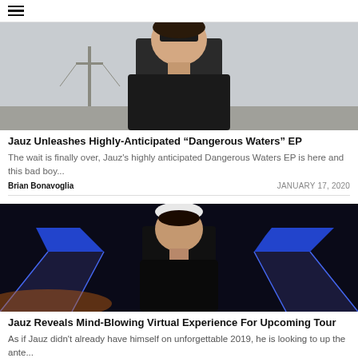≡
[Figure (photo): Man wearing sunglasses and black t-shirt standing outdoors near a utility pole against a grey sky]
Jauz Unleashes Highly-Anticipated "Dangerous Waters" EP
The wait is finally over, Jauz's highly anticipated Dangerous Waters EP is here and this bad boy...
Brian Bonavoglia   JANUARY 17, 2020
[Figure (photo): Man wearing black t-shirt and white bandana standing in front of blue neon-lit stairs in a dark setting]
Jauz Reveals Mind-Blowing Virtual Experience For Upcoming Tour
As if Jauz didn't already have himself on unforgettable 2019, he is looking to up the ante...